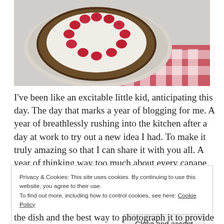[Figure (photo): A raspberry tart on a plate with a red and white checkered napkin on a light grey background, viewed from above at a slight angle. The tart has a dark crust filled with cream cheese or similar white filling topped with fresh raspberries arranged in a circle.]
I've been like an excitable little kid, anticipating this day. The day that marks a year of blogging for me. A year of breathlessly rushing into the kitchen after a day at work to try out a new idea I had. To make it truly amazing so that I can share it with you all. A year of thinking way too much about every canape, main meal and dessert I ate. Of
Privacy & Cookies: This site uses cookies. By continuing to use this website, you agree to their use.
To find out more, including how to control cookies, see here: Cookie Policy

Close and accept
the dish and the best way to photograph it to provide a